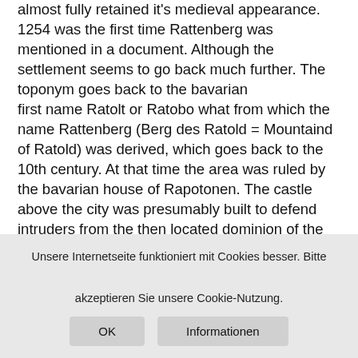almost fully retained it's medieval appearance. 1254 was the first time Rattenberg was mentioned in a document. Although the settlement seems to go back much further. The toponym goes back to the bavarian first name Ratolt or Ratobo what from which the name Rattenberg (Berg des Ratold = Mountaind of Ratold) was derived, which goes back to the 10th century. At that time the area was ruled by the bavarian house of Rapotonen. The castle above the city was presumably built to defend intruders from the then located dominion of the prince-archbishops of Brixen.
[Figure (photo): Outdoor photo showing rocks and green foliage/trees]
Unsere Internetseite funktioniert mit Cookies besser. Bitte akzeptieren Sie unsere Cookie-Nutzung.